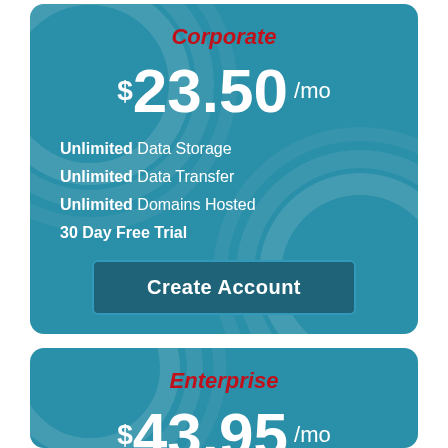Corporate
$23.50 /mo
Unlimited Data Storage
Unlimited Data Transfer
Unlimited Domains Hosted
30 Day Free Trial
Create Account
Enterprise
$43.95 /mo